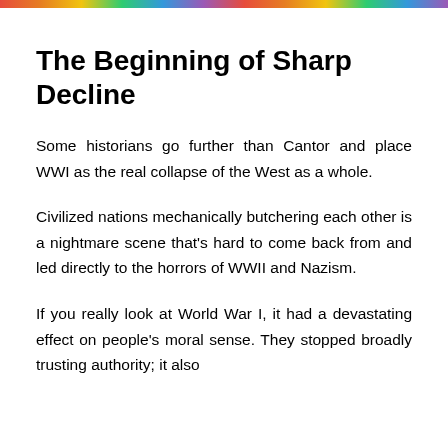[Figure (photo): Colorful decorative image strip at the top of the page]
The Beginning of Sharp Decline
Some historians go further than Cantor and place WWI as the real collapse of the West as a whole.
Civilized nations mechanically butchering each other is a nightmare scene that's hard to come back from and led directly to the horrors of WWII and Nazism.
If you really look at World War I, it had a devastating effect on people's moral sense. They stopped broadly trusting authority; it also